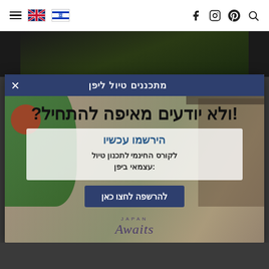Navigation bar with hamburger menu, UK flag, Israel flag, and social icons (Facebook, Instagram, Pinterest, Search)
[Figure (photo): Dark food/nature photo strip at top of page]
מתכננים טיול ליפן
ולא יודעים מאיפה להתחיל?!
הירשמו עכשיו
לקורס החינמי לתכנון טיול עצמאי ביפן:
להרשפה לחצו כאן
[Figure (logo): Japan Awaits logo with cursive text]